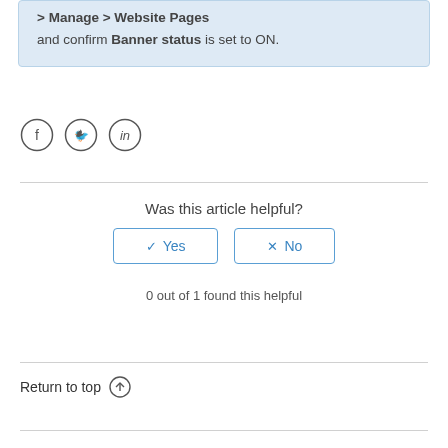> Manage > Website Pages and confirm Banner status is set to ON.
[Figure (illustration): Social sharing icons: Facebook, Twitter, LinkedIn in circles]
Was this article helpful?
✓ Yes   ✗ No (buttons)
0 out of 1 found this helpful
Return to top ↑